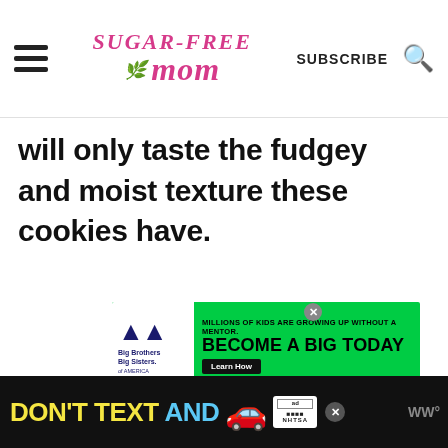Sugar-Free Mom | SUBSCRIBE
will only taste the fudgey and moist texture these cookies have.
[Figure (infographic): Green advertisement banner for Big Brothers Big Sisters of America: 'MILLIONS OF KIDS ARE GROWING UP WITHOUT A MENTOR. BECOME A BIG TODAY' with Learn How button]
[Figure (infographic): Black bottom banner ad: DON'T TEXT AND [car emoji] with NHTSA logo and close button]